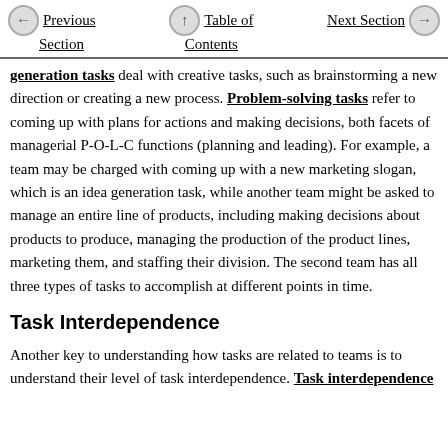Previous Section | Table of Contents | Next Section
generation tasks deal with creative tasks, such as brainstorming a new direction or creating a new process. Problem-solving tasks refer to coming up with plans for actions and making decisions, both facets of managerial P-O-L-C functions (planning and leading). For example, a team may be charged with coming up with a new marketing slogan, which is an idea generation task, while another team might be asked to manage an entire line of products, including making decisions about products to produce, managing the production of the product lines, marketing them, and staffing their division. The second team has all three types of tasks to accomplish at different points in time.
Task Interdependence
Another key to understanding how tasks are related to teams is to understand their level of task interdependence. Task interdependence